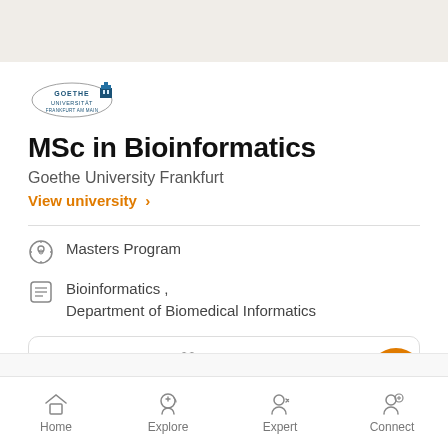[Figure (logo): Goethe Universität Frankfurt logo]
MSc in Bioinformatics
Goethe University Frankfurt
View university >
Masters Program
Bioinformatics , Department of Biomedical Informatics
Shortlist
Home  Explore  Expert  Connect